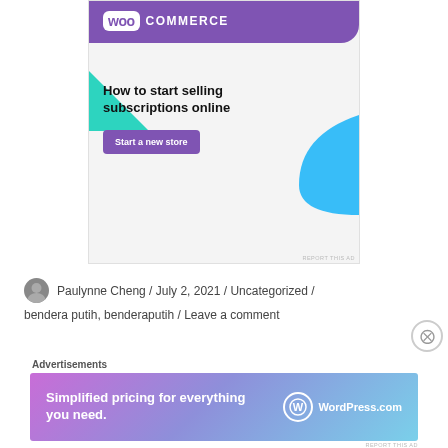[Figure (screenshot): WooCommerce advertisement banner with purple header, green triangle shape, blue curved shape, headline 'How to start selling subscriptions online', and a 'Start a new store' button]
Paulynne Cheng / July 2, 2021 / Uncategorized / bendera putih, benderaputih / Leave a comment
[Figure (screenshot): WordPress.com advertisement banner with gradient background showing 'Simplified pricing for everything you need.']